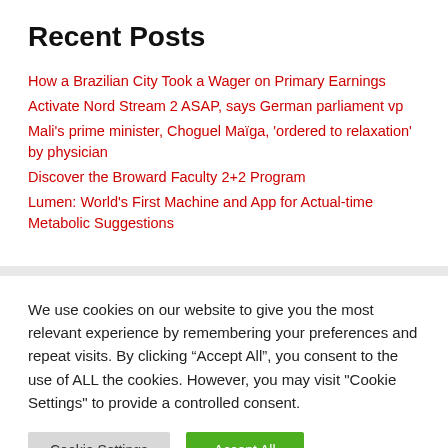Recent Posts
How a Brazilian City Took a Wager on Primary Earnings
Activate Nord Stream 2 ASAP, says German parliament vp
Mali's prime minister, Choguel Maïga, 'ordered to relaxation' by physician
Discover the Broward Faculty 2+2 Program
Lumen: World's First Machine and App for Actual-time Metabolic Suggestions
We use cookies on our website to give you the most relevant experience by remembering your preferences and repeat visits. By clicking “Accept All”, you consent to the use of ALL the cookies. However, you may visit "Cookie Settings" to provide a controlled consent.
Cookie Settings | Accept All